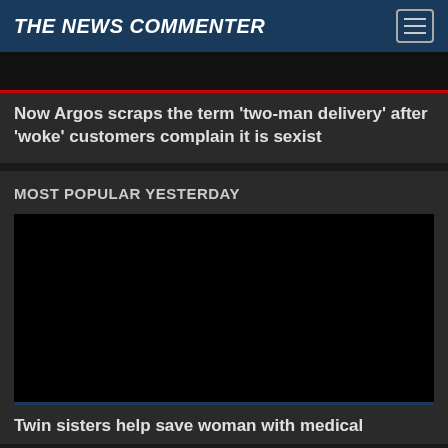THE NEWS COMMENTER
[Figure (photo): Dark image with red line at bottom, article thumbnail]
Now Argos scraps the term 'two-man delivery' after 'woke' customers complain it is sexist
MOST POPULAR YESTERDAY
[Figure (photo): Completely black image thumbnail]
Twin sisters help save woman with medical